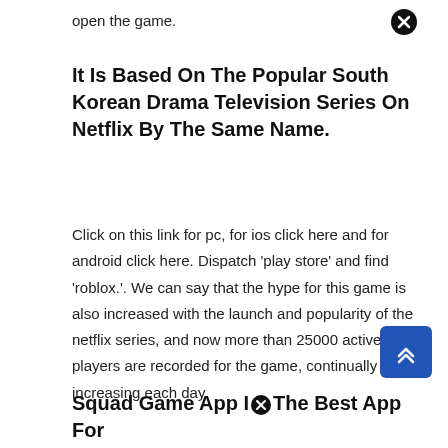open the game.
It Is Based On The Popular South Korean Drama Television Series On Netflix By The Same Name.
Click on this link for pc, for ios click here and for android click here. Dispatch ‘play store’ and find ‘roblox.’. We can say that the hype for this game is also increased with the launch and popularity of the netflix series, and now more than 25000 active players are recorded for the game, continually increasing each day.
Squad Game App IⓧThe Best App For